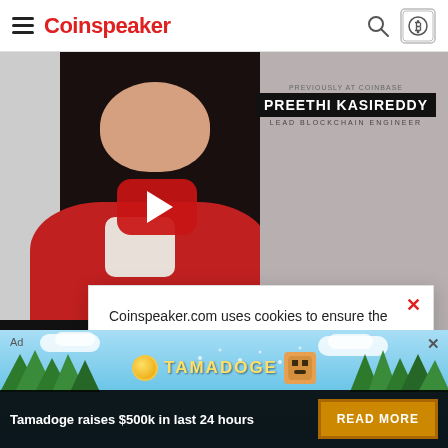Coinspeaker
[Figure (screenshot): YouTube video thumbnail showing a woman in a red jacket with a YouTube play button overlay. Name card reads: PREVIOUSLY AT COINBASE / PREETHI KASIREDDY / LEAD BLOCKCHAIN ENGINEER]
DISCLOSURE: This a...
[Figure (screenshot): Cookie consent modal: Coinspeaker.com uses cookies to ensure the best experience for you. ACCEPT | GO TO PRIVACY POLICY]
[Figure (screenshot): Tamadoge advertisement banner at the bottom: Tamadoge raises $500k in last 24 hours | READ MORE]